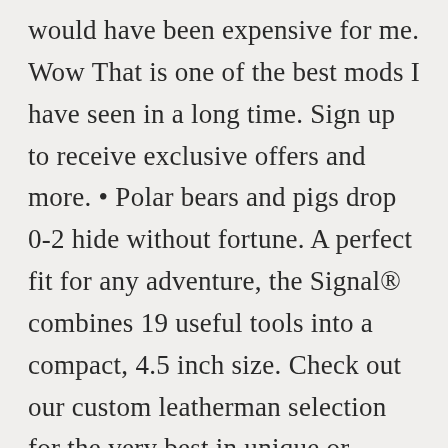would have been expensive for me. Wow That is one of the best mods I have seen in a long time. Sign up to receive exclusive offers and more. • Polar bears and pigs drop 0-2 hide without fortune. A perfect fit for any adventure, the Signal® combines 19 useful tools into a compact, 4.5 inch size. Check out our custom leatherman selection for the very best in unique or custom, handmade pieces from our camping shops. Brown Leatherblades. By signing up you agree to Leatherman's Privacy Policy and Terms & Conditions. This multi-tool readies you for the unexpected with its fire-starting ferro rod, 420HC combo blade, and emergency whistle. Especially since I probably won't be using Tread tool. Create